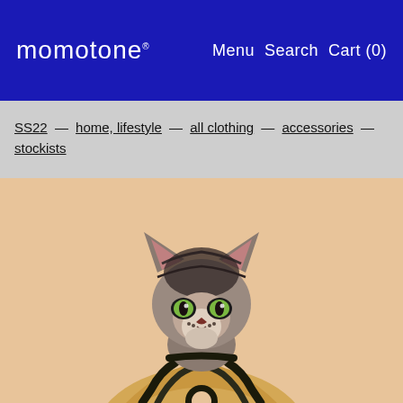momotone — Menu Search Cart (0)
SS22 — home, lifestyle — all clothing — accessories — stockists
[Figure (photo): A Sphynx cat wearing a beige/tan garment with dark trim straps, photographed against a beige/tan background. The cat has large ears, green eyes, and a black-and-white facial pattern.]